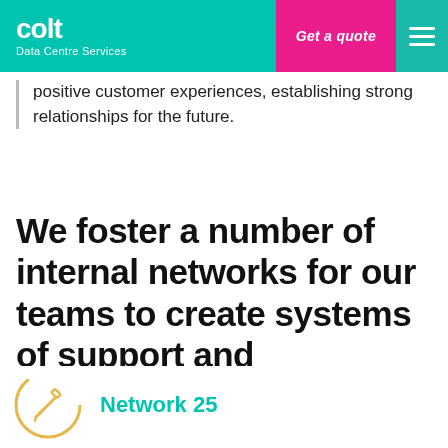colt Data Centre Services | Get a quote
positive customer experiences, establishing strong relationships for the future.
We foster a number of internal networks for our teams to create systems of support and encouragement:
[Figure (illustration): Partial circular icon with pencil/edit symbol in yellow/amber outline style]
Network 25